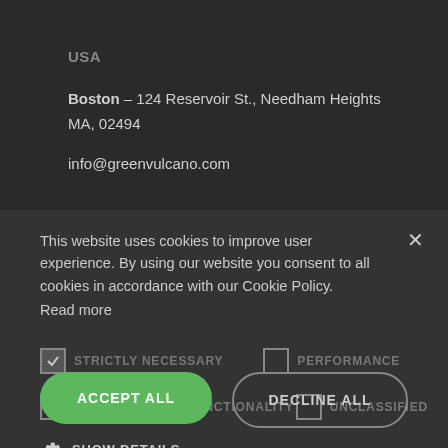USA
Boston – 124 Reservoir St., Needham Heights MA, 02494
info@greenvulcano.com
This website uses cookies to improve user experience. By using our website you consent to all cookies in accordance with our Cookie Policy. Read more
☑ STRICTLY NECESSARY  ☐ PERFORMANCE  ☐ TARGETING  ☐ FUNCTIONALITY  ☐ UNCLASSIFIED
⚙ SHOW DETAILS
ACCEPT ALL
DECLINE ALL